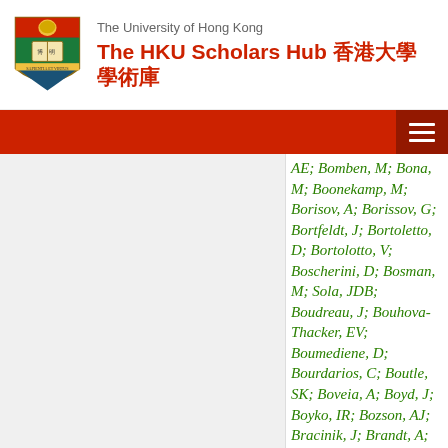The University of Hong Kong — The HKU Scholars Hub 香港大學學術庫
AE; Bomben, M; Bona, M; Boonekamp, M; Borisov, A; Borissov, G; Bortfeldt, J; Bortoletto, D; Bortolotto, V; Boscherini, D; Bosman, M; Sola, JDB; Boudreau, J; Bouhova-Thacker, EV; Boumediene, D; Bourdarios, C; Boutle, SK; Boveia, A; Boyd, J; Boyko, IR; Bozson, AJ; Bracinik, J; Brandt, A; Brandt, C; Bra...